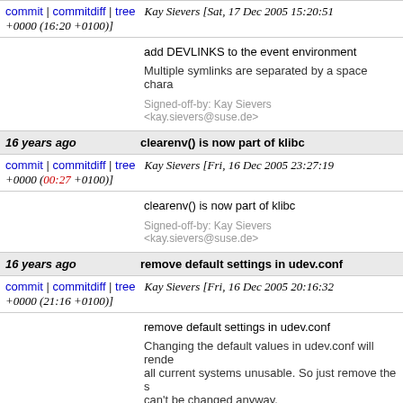commit | commitdiff | tree   Kay Sievers [Sat, 17 Dec 2005 15:20:51 +0000 (16:20 +0100)]
add DEVLINKS to the event environment

Multiple symlinks are separated by a space chara

Signed-off-by: Kay Sievers <kay.sievers@suse.de>
16 years ago   clearenv() is now part of klibc
commit | commitdiff | tree   Kay Sievers [Fri, 16 Dec 2005 23:27:19 +0000 (00:27 +0100)]
clearenv() is now part of klibc

Signed-off-by: Kay Sievers <kay.sievers@suse.de>
16 years ago   remove default settings in udev.conf
commit | commitdiff | tree   Kay Sievers [Fri, 16 Dec 2005 20:16:32 +0000 (21:16 +0100)]
remove default settings in udev.conf

Changing the default values in udev.conf will rende all current systems unusable. So just remove the s can't be changed anyway.